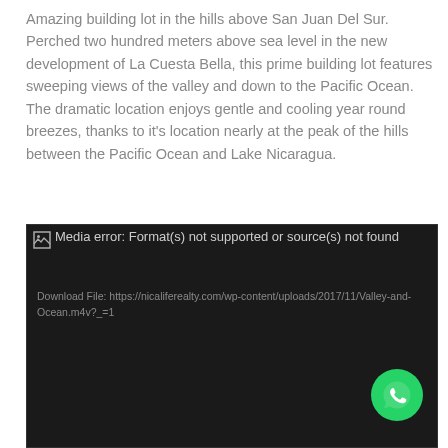Amazing building lot in the hills above San Juan Del Sur. Perched two hundred meters above sea level in the new development of La Cuesta Bella, this prime building lot features sweeping views of the valley and down to the Pacific Ocean. The dramatic location enjoys gentle and cooling year round breezes, thanks to it's location nearly at the peak of the hills between the Pacific Ocean and Lake Nicaragua.
[Figure (screenshot): Video player showing a media error: 'Format(s) not supported or source(s) not found'. Download File link shown: https://nicaliferealty.com/wp-content/uploads/2017/11/Valley-and-Ocean.m4v?_=1. A WhatsApp button (green circle with phone icon) is visible in the bottom right corner.]